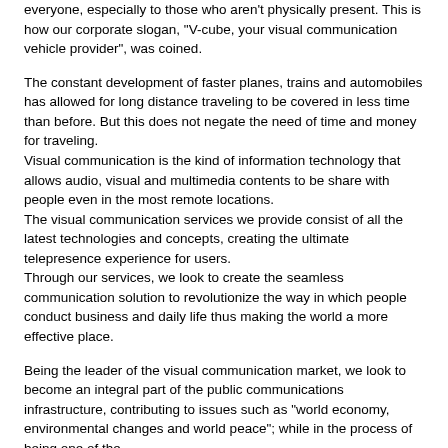everyone, especially to those who aren't physically present. This is how our corporate slogan, "V-cube, your visual communication vehicle provider", was coined.
The constant development of faster planes, trains and automobiles has allowed for long distance traveling to be covered in less time than before. But this does not negate the need of time and money for traveling.
Visual communication is the kind of information technology that allows audio, visual and multimedia contents to be share with people even in the most remote locations.
The visual communication services we provide consist of all the latest technologies and concepts, creating the ultimate telepresence experience for users.
Through our services, we look to create the seamless communication solution to revolutionize the way in which people conduct business and daily life thus making the world a more effective place.
Being the leader of the visual communication market, we look to become an integral part of the public communications infrastructure, contributing to issues such as "world economy, environmental changes and world peace"; while in the process of being one of the world's finest...